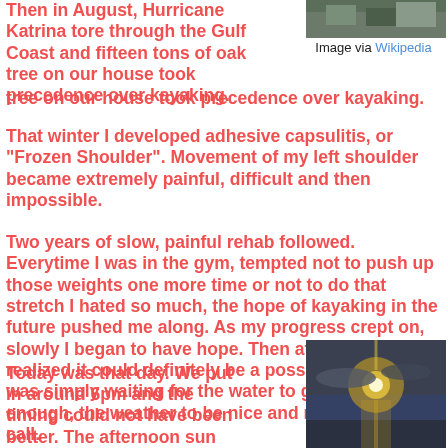Then in August, Hurricane Katrina tore through the Gulf Coast and fifteen tons of oak tree on our house took precedence over kayaking.
[Figure (photo): Partial photo visible at top-right corner, appears to be a rocky/mountain scene]
Image via Wikipedia
That winter I developed adhesive capsulitis, or "Frozen Shoulder". Movement of my left shoulder became extremely painful, difficult and then impossible.
Two years of slow, painful rehab followed. Everytime I was in the gym, tempted not to push up those weights one more time or not to do that stretch I hated so much, the hope of kayaking in the future pushed me along. As my progress crept on, slowly I began to have hope. Then at one point I realized it could definitely be a possibility. Then it was simply waiting for the water to get warm enough, the weather to be nice and me to not be on call.
Today was that day. We put in around 6pm and the timing could not have been better. The afternoon sun
[Figure (photo): Sunset photo showing sun through clouds over water]